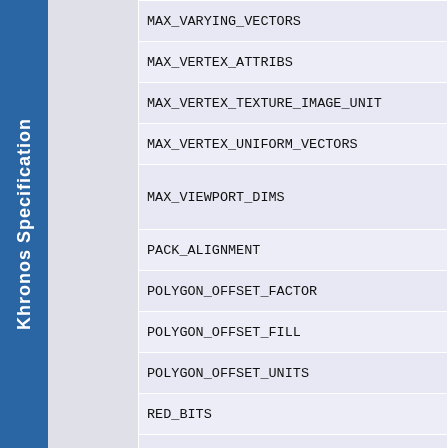Khronos Specification
| MAX_VARYING_VECTORS |
| MAX_VERTEX_ATTRIBS |
| MAX_VERTEX_TEXTURE_IMAGE_UNIT |
| MAX_VERTEX_UNIFORM_VECTORS |
| MAX_VIEWPORT_DIMS |
| PACK_ALIGNMENT |
| POLYGON_OFFSET_FACTOR |
| POLYGON_OFFSET_FILL |
| POLYGON_OFFSET_UNITS |
| RED_BITS |
| RENDERBUFFER_BINDING |
| RENDERER |
| SAMPLE_BUFFERS |
| SAMPLE_COVERAGE_INVERT |
| SAMPLE_COVERAGE_VALUE |